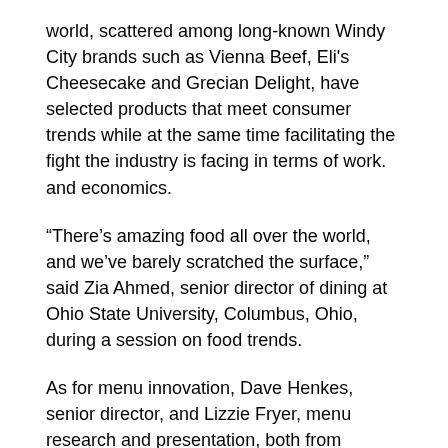world, scattered among long-known Windy City brands such as Vienna Beef, Eli's Cheesecake and Grecian Delight, have selected products that meet consumer trends while at the same time facilitating the fight the industry is facing in terms of work. and economics.
“There’s amazing food all over the world, and we’ve barely scratched the surface,” said Zia Ahmed, senior director of dining at Ohio State University, Columbus, Ohio, during a session on food trends.
As for menu innovation, Dave Henkes, senior director, and Lizzie Fryer, menu research and presentation, both from Chicago Technomic discussed how to “start a business and delight guests” using their five “P’s”. The first “p” is a turn. This involves rethinking the menu without adding too many new ingredients. One approach is to give dishes new flavors